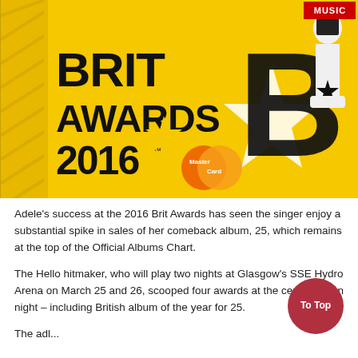[Figure (illustration): BRIT Awards 2016 with MasterCard promotional banner on yellow background with large black B logo and award statuette figure]
Adele's success at the 2016 Brit Awards has seen the singer enjoy a substantial spike in sales of her comeback album, 25, which remains at the top of the Official Albums Chart.
The Hello hitmaker, who will play two nights at Glasgow's SSE Hydro Arena on March 25 and 26, scooped four awards at the ceremony on night – including British album of the year for 25.
The album... [continues]